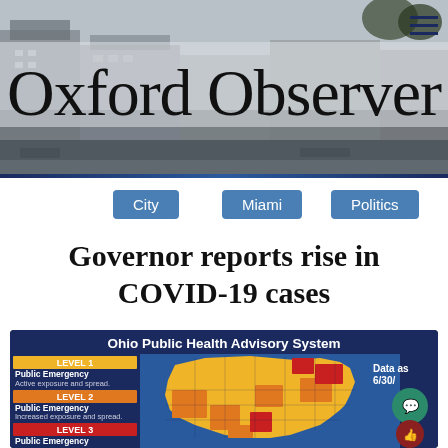[Figure (photo): Oxford Observer newspaper header banner with building photograph background and serif masthead text]
Oxford Observer
City
Miami
Politics
Governor reports rise in COVID-19 cases
[Figure (infographic): Ohio Public Health Advisory System map showing county-level COVID-19 risk levels (Level 1 yellow, Level 2 orange, Level 3 red) with legend. Data as of 6/30/. Map shows Ohio counties colored by risk level with most counties in yellow/orange and some in red.]